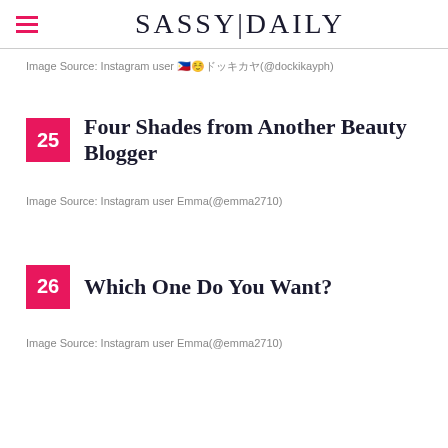SASSY|DAILY
Image Source: Instagram user 🇵🇭☺️ドッキカヤ(@dockikayph)
25 Four Shades from Another Beauty Blogger
Image Source: Instagram user Emma(@emma2710)
26 Which One Do You Want?
Image Source: Instagram user Emma(@emma2710)